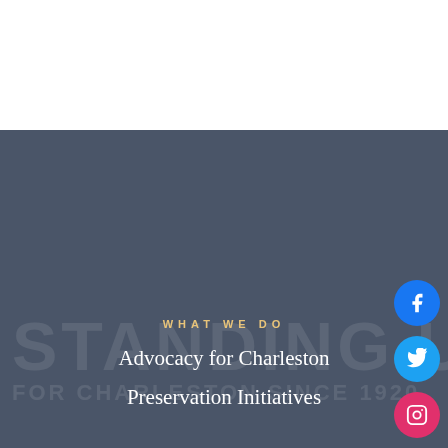[Figure (illustration): Dark slate-blue background section with large faded watermark text reading 'STANDING UP' and a subtitle line below it, with three social media icon circles (Facebook, Twitter, Instagram) on the right side.]
WHAT WE DO
Advocacy for Charleston
Preservation Initiatives